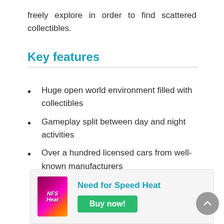freely explore in order to find scattered collectibles.
Key features
Huge open world environment filled with collectibles
Gameplay split between day and night activities
Over a hundred licensed cars from well-known manufacturers
Need for Speed Heat
Buy now!